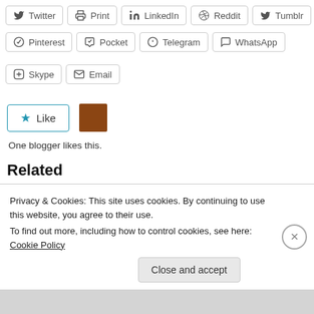Twitter
Print
LinkedIn
Reddit
Tumblr
Pinterest
Pocket
Telegram
WhatsApp
Skype
Email
One blogger likes this.
Related
Without Prejudice
Mervelee Myers Must
Without Prejudice
YouTube Legal Join
Privacy & Cookies: This site uses cookies. By continuing to use this website, you agree to their use.
To find out more, including how to control cookies, see here: Cookie Policy
Close and accept